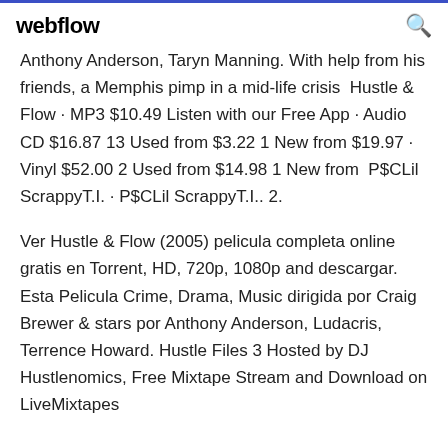webflow
Anthony Anderson, Taryn Manning. With help from his friends, a Memphis pimp in a mid-life crisis  Hustle & Flow · MP3 $10.49 Listen with our Free App · Audio CD $16.87 13 Used from $3.22 1 New from $19.97 · Vinyl $52.00 2 Used from $14.98 1 New from  P$CLil ScrappyT.I. · P$CLil ScrappyT.I.. 2.
Ver Hustle & Flow (2005) pelicula completa online gratis en Torrent, HD, 720p, 1080p and descargar. Esta Pelicula Crime, Drama, Music dirigida por Craig Brewer & stars por Anthony Anderson, Ludacris, Terrence Howard. Hustle Files 3 Hosted by DJ Hustlenomics, Free Mixtape Stream and Download on LiveMixtapes